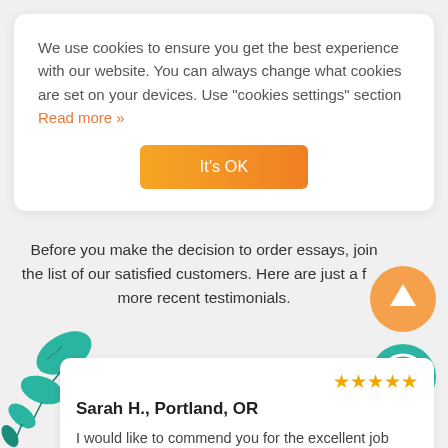We use cookies to ensure you get the best experience with our website. You can always change what cookies are set on your devices. Use "cookies settings" section Read more »
It's OK
Before you make the decision to order essays, join the list of our satisfied customers. Here are just a few more recent testimonials.
[Figure (illustration): Teal decorative leaf/plant illustration on left side]
[Figure (illustration): Orange circle with upward arrow icon]
[Figure (illustration): Teal circle with map/menu pin icon]
★★★★★
Sarah H., Portland, OR
I would like to commend you for the excellent job your writers did on my dissertation on geography. The subject matter was rather